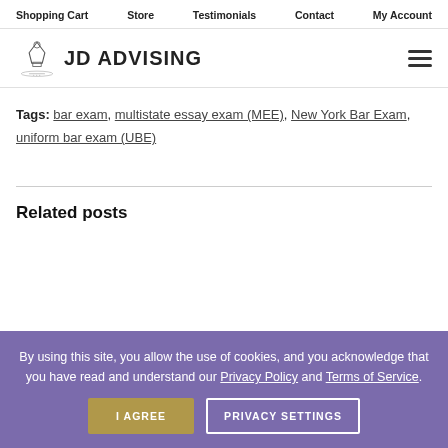Shopping Cart | Store | Testimonials | Contact | My Account
[Figure (logo): JD Advising logo with diploma/scroll icon and text 'JD ADVISING']
Tags: bar exam, multistate essay exam (MEE), New York Bar Exam, uniform bar exam (UBE)
Related posts
By using this site, you allow the use of cookies, and you acknowledge that you have read and understand our Privacy Policy and Terms of Service.